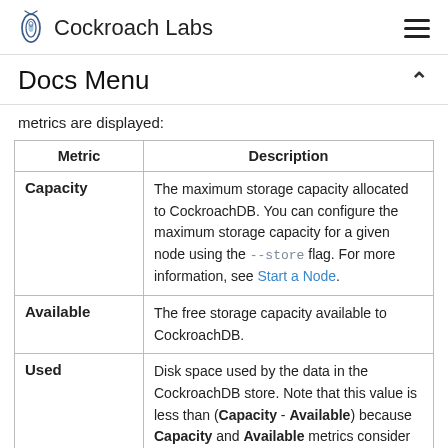Cockroach Labs
Docs Menu
metrics are displayed:
| Metric | Description |
| --- | --- |
| Capacity | The maximum storage capacity allocated to CockroachDB. You can configure the maximum storage capacity for a given node using the --store flag. For more information, see Start a Node. |
| Available | The free storage capacity available to CockroachDB. |
| Used | Disk space used by the data in the CockroachDB store. Note that this value is less than (Capacity - Available) because Capacity and Available metrics consider the entire disk and all applications on the disk, including CockroachDB, whereas Used metrics... |